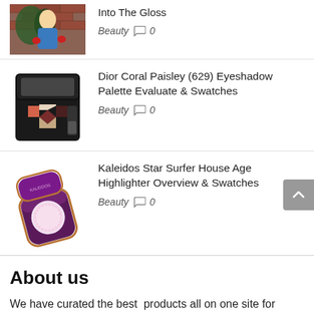[Figure (photo): Photo of person, holiday/winter setting with greenery and brick wall background]
Into The Gloss
Beauty  0
[Figure (photo): Dior eyeshadow palette open showing coral/burgundy/nude shades]
Dior Coral Paisley (629) Eyeshadow Palette Evaluate & Swatches
Beauty  0
[Figure (photo): Kaleidos Star Surfer highlighter compact with purple metallic case, open showing pale pink shimmer]
Kaleidos Star Surfer House Age Highlighter Overview & Swatches
Beauty  0
About us
We have curated the best  products all on one site for quick